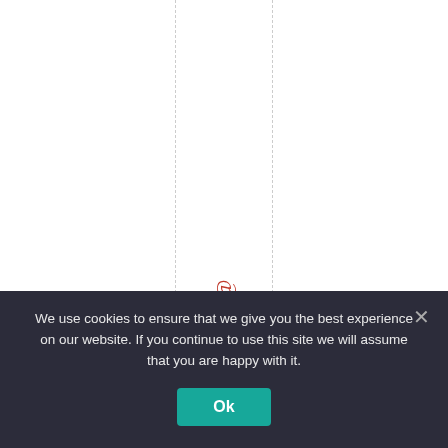:/ow .iy/10QQK(via@
We use cookies to ensure that we give you the best experience on our website. If you continue to use this site we will assume that you are happy with it.